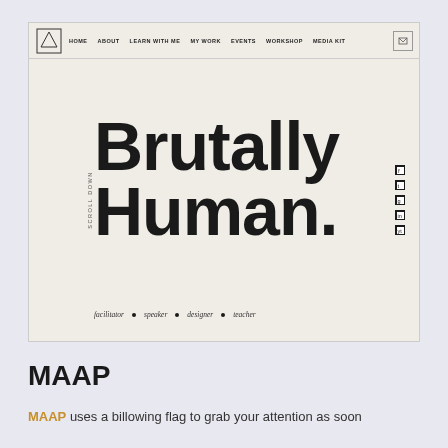[Figure (screenshot): Screenshot of a website called 'Brutally Human.' with a beige/cream background, navigation bar at top with links: HOME, ABOUT, LEARN WITH ME, MY WORK, EVENTS, WORKSHOP, MEDIA KIT, and a mail icon. Large bold headline reads 'Brutally Human.' with a vertical 'SCROLL DOWN' text on the left side, social media icons on the right, and tagline at bottom: facilitator • speaker • designer • teacher]
MAAP
MAAP uses a billowing flag to grab your attention as soon